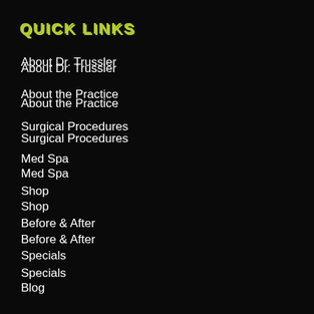QUICK LINKS
About Dr. Trussler
About the Practice
Surgical Procedures
Med Spa
Shop
Before & After
Specials
Blog
Patient Resources
Locate Us
Contact Us
PROCEDURES
Cosmetic Surgery:
Face Procedures